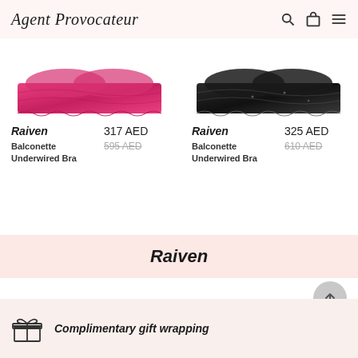Agent Provocateur
[Figure (photo): Pink lace balconette bra product image (cropped top view)]
Raiven
317 AED
Balconette Underwired Bra
595 AED (strikethrough)
[Figure (photo): Black lace balconette bra product image (cropped top view)]
Raiven
325 AED
Balconette Underwired Bra
610 AED (strikethrough)
Raiven
Complimentary gift wrapping